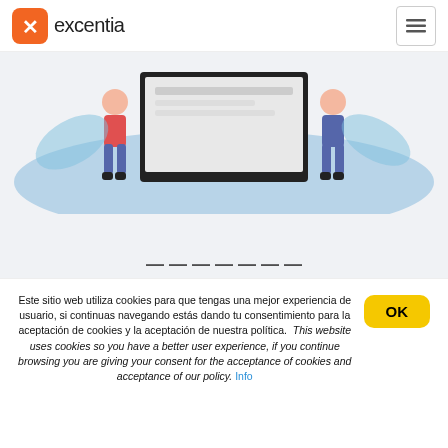excentia
[Figure (illustration): Illustration of two people standing at a large monitor/screen on a blue oval background, website hero section]
Este sitio web utiliza cookies para que tengas una mejor experiencia de usuario, si continuas navegando estás dando tu consentimiento para la aceptación de cookies y la aceptación de nuestra política. This website uses cookies so you have a better user experience, if you continue browsing you are giving your consent for the acceptance of cookies and acceptance of our policy. Info